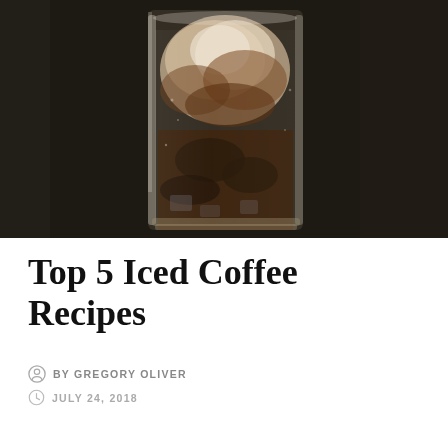[Figure (photo): Close-up photograph of an iced coffee drink in a clear glass tumbler against a dark background, showing swirls of cream and coffee]
Top 5 Iced Coffee Recipes
BY GREGORY OLIVER
JULY 24, 2018